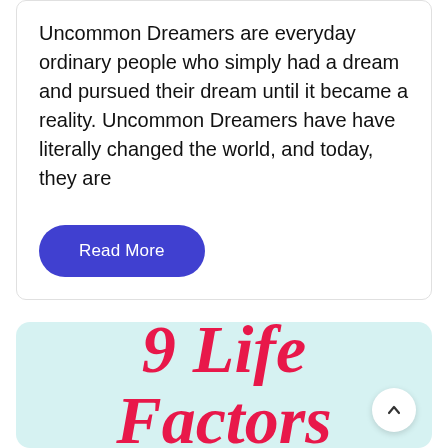Uncommon Dreamers are everyday ordinary people who simply had a dream and pursued their dream until it became a reality. Uncommon Dreamers have have literally changed the world, and today, they are
[Figure (other): A blue rounded-rectangle button with white text reading 'Read More']
[Figure (illustration): Light cyan/teal card with large cursive/script red text reading '9 Life Factors' and a white circular scroll-up button in bottom right]